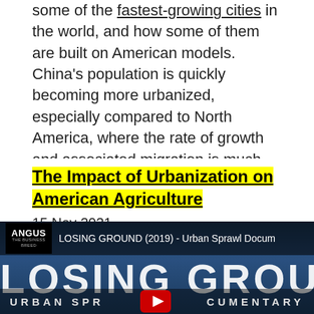some of the fastest-growing cities in the world, and how some of them are built on American models. China's population is quickly becoming more urbanized, especially compared to North America, where the rate of growth and associated migration is much slower. The exciting articles in this blog will cover changes as they happen with the most up to date news.
The Impact of Urbanization on American Agriculture
15 Nov 2021
[Figure (screenshot): YouTube video thumbnail for 'LOSING GROUND (2019) - Urban Sprawl Documentary' by Angus. Shows large text 'LOSING GROUND' on a dark blue background, with 'URBAN SPRAWL DOCUMENTARY' at the bottom and a YouTube play button.]